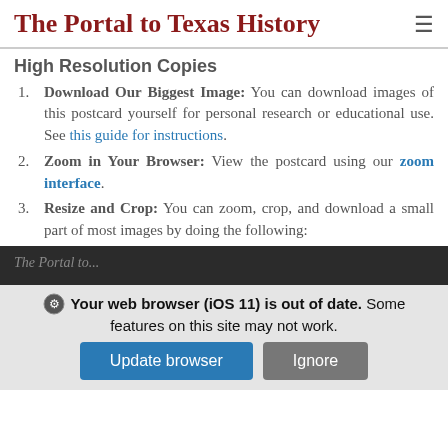The Portal to Texas History
High Resolution Copies
Download Our Biggest Image: You can download images of this postcard yourself for personal research or educational use. See this guide for instructions.
Zoom in Your Browser: View the postcard using our zoom interface.
Resize and Crop: You can zoom, crop, and download a small part of most images by doing the following:
The Portal to...
Your web browser (iOS 11) is out of date. Some features on this site may not work.